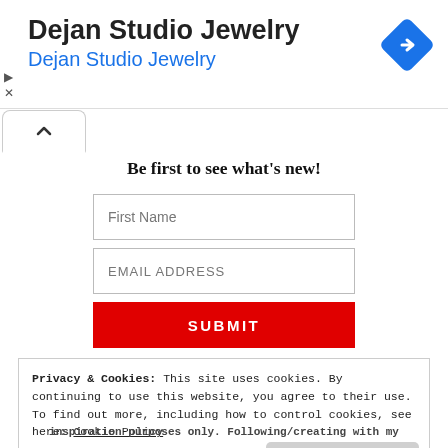Dejan Studio Jewelry
Dejan Studio Jewelry
Be first to see what's new!
First Name
EMAIL ADDRESS
SUBMIT
Privacy & Cookies: This site uses cookies. By continuing to use this website, you agree to their use.
To find out more, including how to control cookies, see here: Cookie Policy
Close and accept
inspiration purposes only. Following/creating with my